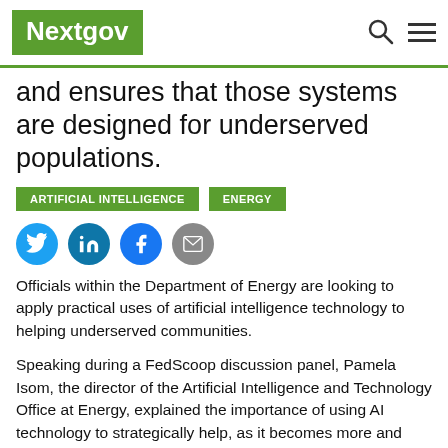Nextgov
and ensures that those systems are designed for underserved populations.
ARTIFICIAL INTELLIGENCE
ENERGY
[Figure (other): Social sharing icons: Twitter, LinkedIn, Facebook, Email]
Officials within the Department of Energy are looking to apply practical uses of artificial intelligence technology to helping underserved communities.
Speaking during a FedScoop discussion panel, Pamela Isom, the director of the Artificial Intelligence and Technology Office at Energy, explained the importance of using AI technology to strategically help, as it becomes more and more ubiquitous in daily life.
Some current use cases for AI tech within Energy are